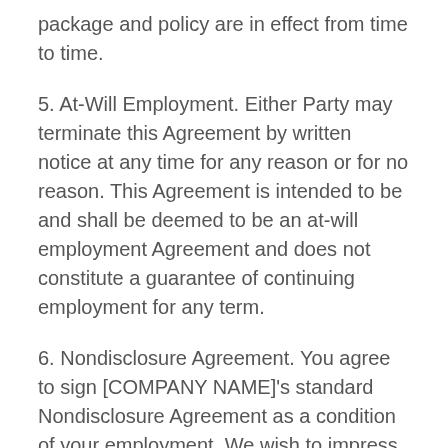package and policy are in effect from time to time.
5. At-Will Employment. Either Party may terminate this Agreement by written notice at any time for any reason or for no reason. This Agreement is intended to be and shall be deemed to be an at-will employment Agreement and does not constitute a guarantee of continuing employment for any term.
6. Nondisclosure Agreement. You agree to sign [COMPANY NAME]'s standard Nondisclosure Agreement as a condition of your employment. We wish to impress upon you that we do not wish you to bring with you any confidential or proprietary material of any former employer or to violate any other obligation to your former employers. All work which you perform as an employee will be